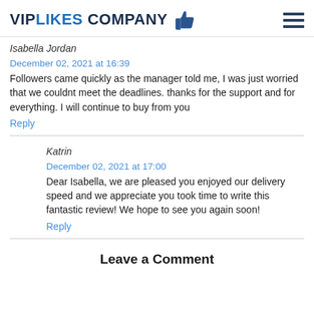VIPLIKES COMPANY
Isabella Jordan
December 02, 2021 at 16:39
Followers came quickly as the manager told me, I was just worried that we couldnt meet the deadlines. thanks for the support and for everything. I will continue to buy from you
Reply
Katrin
December 02, 2021 at 17:00
Dear Isabella, we are pleased you enjoyed our delivery speed and we appreciate you took time to write this fantastic review! We hope to see you again soon!
Reply
Leave a Comment